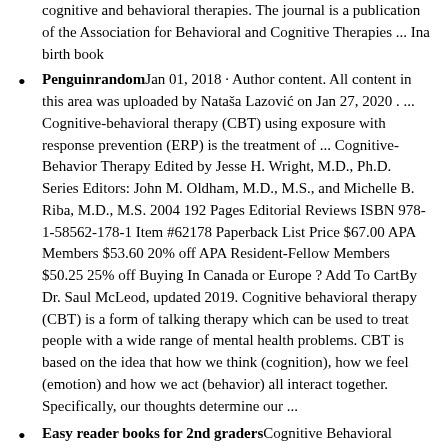cognitive and behavioral therapies. The journal is a publication of the Association for Behavioral and Cognitive Therapies ... Ina birth book
PenguinrandomJan 01, 2018 · Author content. All content in this area was uploaded by Nataša Lazović on Jan 27, 2020 . ... Cognitive-behavioral therapy (CBT) using exposure with response prevention (ERP) is the treatment of ... Cognitive-Behavior Therapy Edited by Jesse H. Wright, M.D., Ph.D. Series Editors: John M. Oldham, M.D., M.S., and Michelle B. Riba, M.D., M.S. 2004 192 Pages Editorial Reviews ISBN 978-1-58562-178-1 Item #62178 Paperback List Price $67.00 APA Members $53.60 20% off APA Resident-Fellow Members $50.25 25% off Buying In Canada or Europe ? Add To CartBy Dr. Saul McLeod, updated 2019. Cognitive behavioral therapy (CBT) is a form of talking therapy which can be used to treat people with a wide range of mental health problems. CBT is based on the idea that how we think (cognition), how we feel (emotion) and how we act (behavior) all interact together. Specifically, our thoughts determine our ...
Easy reader books for 2nd gradersCognitive Behavioral Therapy. CBT Beginner Guide. Learn the Strategies to Overcome Anxiety, Insomnia, Depression and Mood Disorder. By: Robert Eastman. Narrated by: Jim Rising. Length: 3 hrs and 5 mins. Release date: 10-21-19. Language: